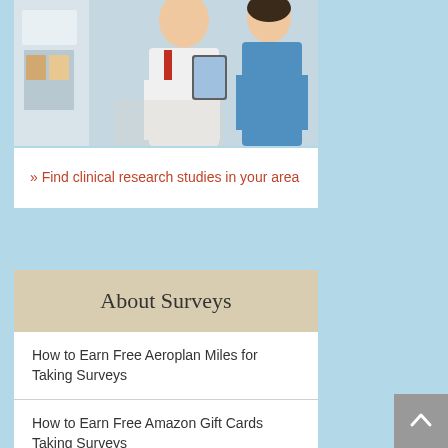[Figure (photo): Two people in a medical setting, one in a white coat consulting with another person, likely a doctor and patient or nurse.]
» Find clinical research studies in your area
About Surveys
How to Earn Free Aeroplan Miles for Taking Surveys
How to Earn Free Amazon Gift Cards Taking Surveys
Why Not All Survey Companies are BBB Approved
Bilingual? Let Survey Companies Know